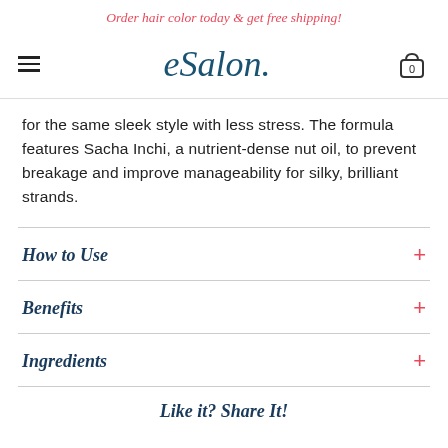Order hair color today & get free shipping!
[Figure (logo): eSalon logo with hamburger menu and shopping cart icon showing 0 items]
for the same sleek style with less stress. The formula features Sacha Inchi, a nutrient-dense nut oil, to prevent breakage and improve manageability for silky, brilliant strands.
How to Use
Benefits
Ingredients
Like it? Share It!